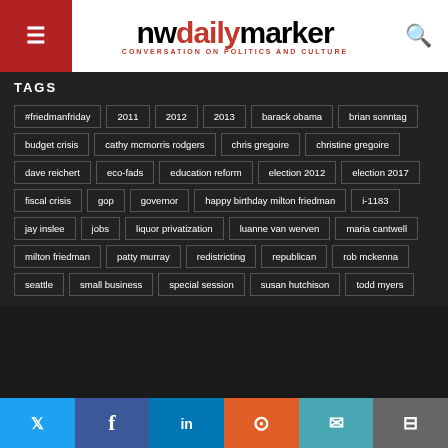nwdailymarker — CONVERSATION ON POLITICS AND CULTURE
TAGS
#friedmanfriday
2011
2012
2013
barack obama
brian sonntag
budget crisis
cathy mcmorris rodgers
chris gregoire
christine gregoire
dave reichert
eco-fads
education reform
election 2012
election 2017
fiscal crisis
gop
governor
happy birthday milton friedman
i-1183
jay inslee
jobs
liquor privatization
luanne van werven
maria cantwell
milton friedman
patty murray
redistricting
republican
rob mckenna
seattle
small business
special session
susan hutchison
todd myers